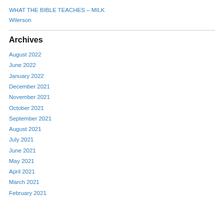WHAT THE BIBLE TEACHES – MILK
Wilerson
Archives
August 2022
June 2022
January 2022
December 2021
November 2021
October 2021
September 2021
August 2021
July 2021
June 2021
May 2021
April 2021
March 2021
February 2021